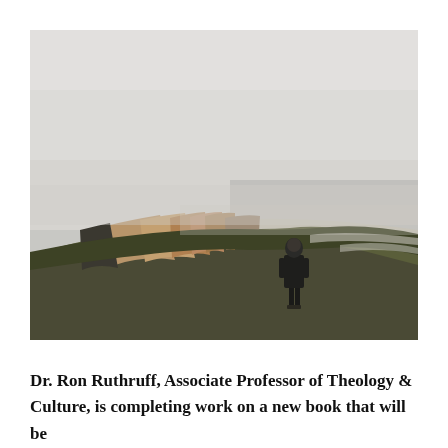[Figure (photo): A person standing on a clifftop edge overlooking a misty, foggy coastline. The cliff has grass on top and exposed sandy/rocky layers on its face. The sea and a beach are visible below in the mist. The scene is moody and overcast, with the lone figure dressed in dark clothing standing near the cliff edge looking out.]
Dr. Ron Ruthruff, Associate Professor of Theology & Culture, is completing work on a new book that will be